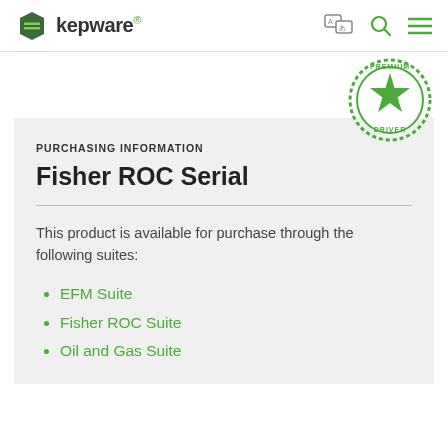Kepware
[Figure (illustration): Premium Driver badge — green circular seal with star and text PREMIUM DRIVER]
PURCHASING INFORMATION
Fisher ROC Serial
This product is available for purchase through the following suites:
EFM Suite
Fisher ROC Suite
Oil and Gas Suite